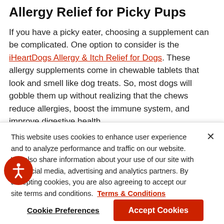Allergy Relief for Picky Pups
If you have a picky eater, choosing a supplement can be complicated. One option to consider is the iHeartDogs Allergy & Itch Relief for Dogs. These allergy supplements come in chewable tablets that look and smell like dog treats. So, most dogs will gobble them up without realizing that the chews reduce allergies, boost the immune system, and improve digestive health.
This website uses cookies to enhance user experience and to analyze performance and traffic on our website. We also share information about your use of our site with our social media, advertising and analytics partners. By accepting cookies, you are also agreeing to accept our site terms and conditions. Terms & Conditions
Cookie Preferences
Accept Cookies